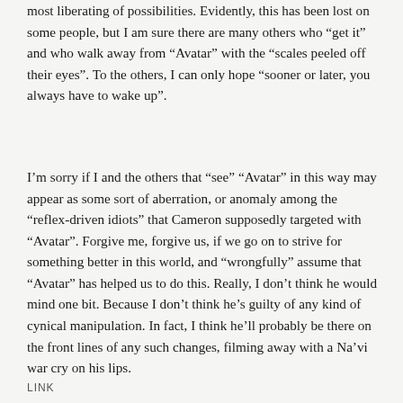most liberating of possibilities. Evidently, this has been lost on some people, but I am sure there are many others who “get it” and who walk away from “Avatar” with the “scales peeled off their eyes”. To the others, I can only hope “sooner or later, you always have to wake up”.
I’m sorry if I and the others that “see” “Avatar” in this way may appear as some sort of aberration, or anomaly among the “reflex-driven idiots” that Cameron supposedly targeted with “Avatar”. Forgive me, forgive us, if we go on to strive for something better in this world, and “wrongfully” assume that “Avatar” has helped us to do this. Really, I don’t think he would mind one bit. Because I don’t think he’s guilty of any kind of cynical manipulation. In fact, I think he’ll probably be there on the front lines of any such changes, filming away with a Na’vi war cry on his lips.
LINK